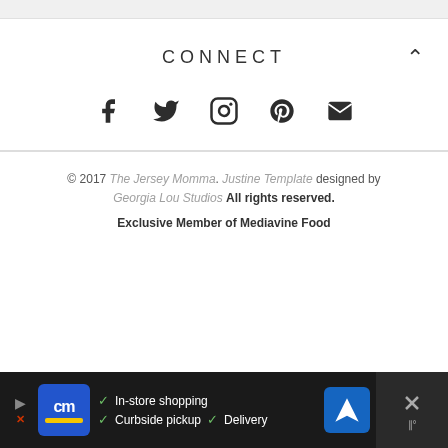CONNECT
[Figure (illustration): Social media icons: Facebook, Twitter, Instagram, Pinterest, Email]
© 2017 The Jersey Momma. Justine Template designed by Georgia Lou Studios All rights reserved.
Exclusive Member of Mediavine Food
[Figure (screenshot): Advertisement bar at bottom: CM (Curbside/store) ad with In-store shopping, Curbside pickup, Delivery options and navigation icon]